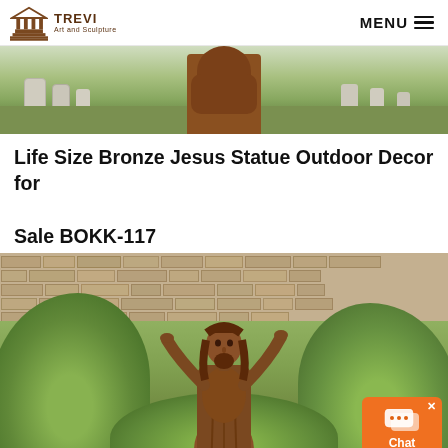TREVI Art and Sculpture — MENU
[Figure (photo): Top cropped photo showing the back/head of a bronze Jesus statue in a cemetery setting with gravestones and green grass]
Life Size Bronze Jesus Statue Outdoor Decor for Sale BOKK-117
[Figure (photo): Life size bronze Jesus statue with arms raised/outstretched, standing in front of a stone wall covered with green hedges/bushes. A chat widget (orange) is visible in the bottom right corner.]